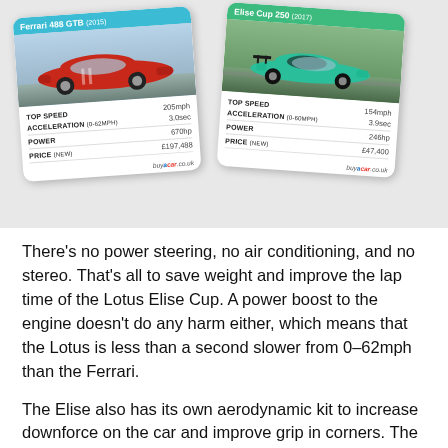[Figure (infographic): Two car trading card style info cards side by side. Left card: Ferrari 488 GTB (2015) with red car photo, stats: TOP SPEED 205mph, ACCELERATION (0-62mph) 3.0sec, POWER 670hp, PRICE (new) £197,488, buyacar.co.uk logo. Right card: Elise Cup 250 (2017) with green/teal car photo, stats: TOP SPEED 154mph, ACCELERATION (0-60mph) 3.9sec, POWER 246hp, PRICE (new) £47,400, buyacar.co.uk logo.]
There's no power steering, no air conditioning, and no stereo. That's all to save weight and improve the lap time of the Lotus Elise Cup. A power boost to the engine doesn't do any harm either, which means that the Lotus is less than a second slower from 0–62mph than the Ferrari.
The Elise also has its own aerodynamic kit to increase downforce on the car and improve grip in corners. The